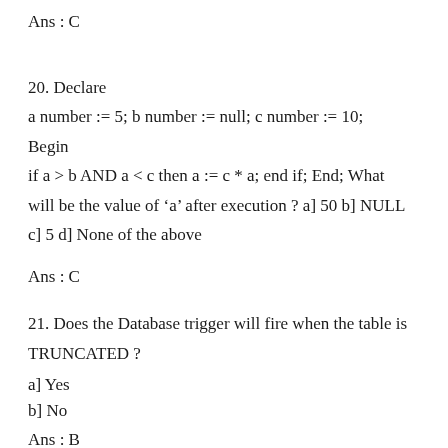Ans : C
20. Declare
a number := 5; b number := null; c number := 10;
Begin
if a > b AND a < c then a := c * a; end if; End; What will be the value of ‘a’ after execution ? a] 50 b] NULL c] 5 d] None of the above
Ans : C
21. Does the Database trigger will fire when the table is TRUNCATED ?
a] Yes
b] No
Ans : B